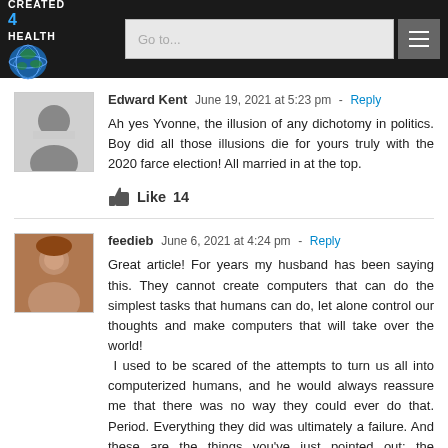CREATED 4 HEALTH — navigation header with logo and Go to... search bar
Edward Kent   June 19, 2021 at 5:23 pm - Reply
Ah yes Yvonne, the illusion of any dichotomy in politics. Boy did all those illusions die for yours truly with the 2020 farce election! All married in at the top.
Like 14
feedieb   June 6, 2021 at 4:24 pm - Reply
Great article! For years my husband has been saying this. They cannot create computers that can do the simplest tasks that humans can do, let alone control our thoughts and make computers that will take over the world!
 I used to be scared of the attempts to turn us all into computerized humans, and he would always reassure me that there was no way they could ever do that. Period. Everything they did was ultimately a failure. And these are the things you've just pointed out: the computer cannot conquer chess; self-driving cars are a pipe dream; computer fail all the time. Their dreams of